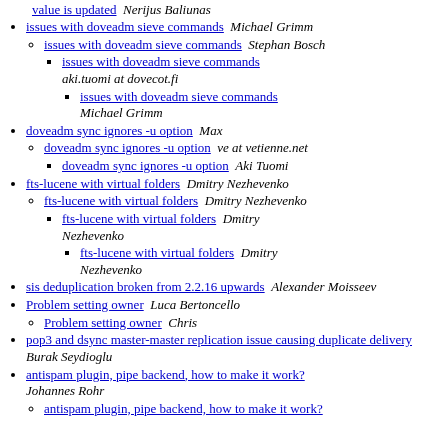value is updated  Nerijus Baliunas
issues with doveadm sieve commands  Michael Grimm
issues with doveadm sieve commands  Stephan Bosch
issues with doveadm sieve commands  aki.tuomi at dovecot.fi
issues with doveadm sieve commands  Michael Grimm
doveadm sync ignores -u option  Max
doveadm sync ignores -u option  ve at vetienne.net
doveadm sync ignores -u option  Aki Tuomi
fts-lucene with virtual folders  Dmitry Nezhevenko
fts-lucene with virtual folders  Dmitry Nezhevenko
fts-lucene with virtual folders  Dmitry Nezhevenko
fts-lucene with virtual folders  Dmitry Nezhevenko
sis deduplication broken from 2.2.16 upwards  Alexander Moisseev
Problem setting owner  Luca Bertoncello
Problem setting owner  Chris
pop3 and dsync master-master replication issue causing duplicate delivery  Burak Seydioglu
antispam plugin, pipe backend, how to make it work?  Johannes Rohr
antispam plugin, pipe backend, how to make it work?